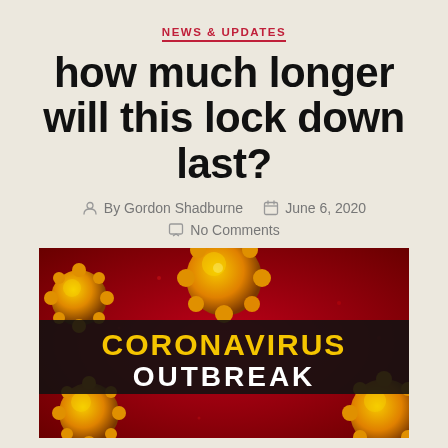NEWS & UPDATES
how much longer will this lock down last?
By Gordon Shadburne   June 6, 2020   No Comments
[Figure (photo): Coronavirus Outbreak graphic with yellow-orange virus particles on a red background, with text 'CORONAVIRUS OUTBREAK' displayed prominently.]